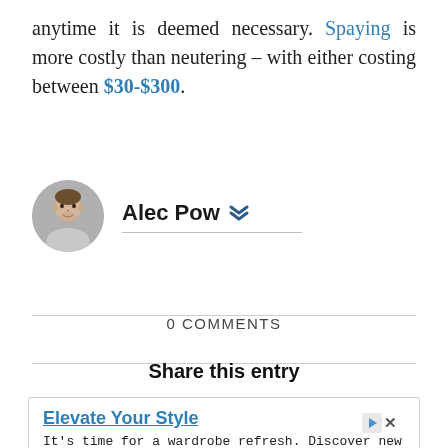anytime it is deemed necessary. Spaying is more costly than neutering – with either costing between $30-$300.
[Figure (photo): Circular avatar photo of Alec Pow, a man with short brown hair against a grey background.]
Alec Pow
0 COMMENTS
Share this entry
[Figure (other): Advertisement for PUMA: 'Elevate Your Style' with text 'It's time for a wardrobe refresh. Discover new looks and classic styles on PUMA.com' and a 'Shop Now' button.]